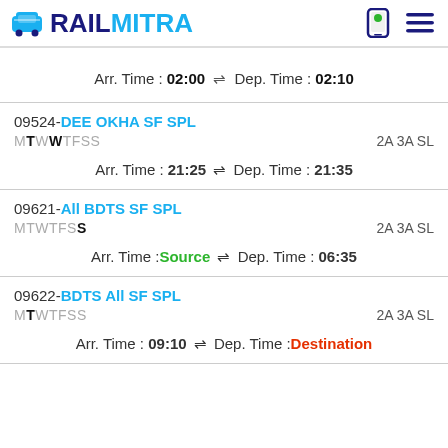RAILMITRA
Arr. Time : 02:00 ⇌ Dep. Time : 02:10
09524-DEE OKHA SF SPL
MTWTFSS	2A 3A SL
Arr. Time : 21:25 ⇌ Dep. Time : 21:35
09621-All BDTS SF SPL
MTWTFSS	2A 3A SL
Arr. Time : Source ⇌ Dep. Time : 06:35
09622-BDTS All SF SPL
MTWTFSS	2A 3A SL
Arr. Time : 09:10 ⇌ Dep. Time : Destination